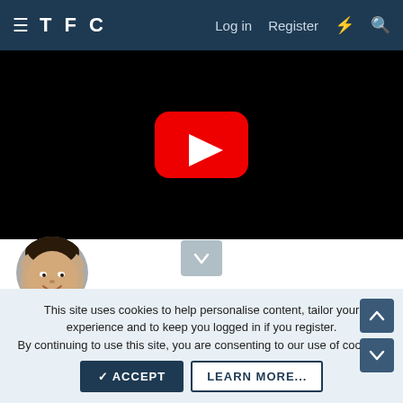TFC  Log in  Register
[Figure (screenshot): Black video player area with YouTube play button (red rounded rectangle with white triangle) in the center]
[Figure (photo): Circular avatar photo of a man with dark hair, smiling]
👍 3
This site uses cookies to help personalise content, tailor your experience and to keep you logged in if you register.
By continuing to use this site, you are consenting to our use of cookies.
✓ ACCEPT  LEARN MORE...